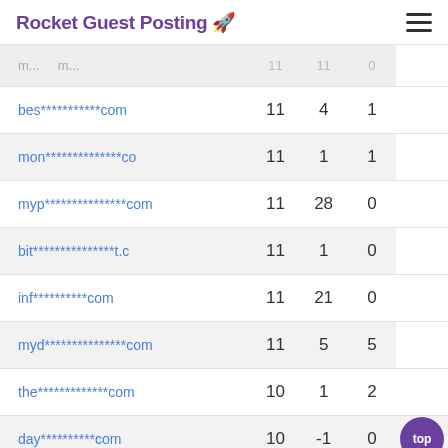Rocket Guest Posting 🚀
| Domain | DA | Links | Score |
| --- | --- | --- | --- |
| bes***********com | 11 | 4 | 1 |
| mon**************co | 11 | 1 | 1 |
| myp***************com | 11 | 28 | 0 |
| bit***************t.c | 11 | 1 | 0 |
| inf**********com | 11 | 21 | 0 |
| myd***************com | 11 | 5 | 5 |
| the*************com | 10 | 1 | 2 |
| day**********com | 10 | -1 | 0 |
| you***************as. | 10 | 1 | 3 |